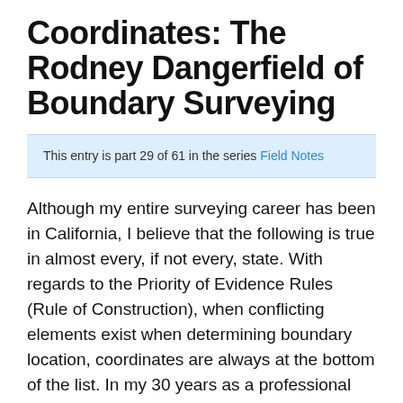Coordinates: The Rodney Dangerfield of Boundary Surveying
This entry is part 29 of 61 in the series Field Notes
Although my entire surveying career has been in California, I believe that the following is true in almost every, if not every, state. With regards to the Priority of Evidence Rules (Rule of Construction), when conflicting elements exist when determining boundary location, coordinates are always at the bottom of the list. In my 30 years as a professional land surveyor, having resolved